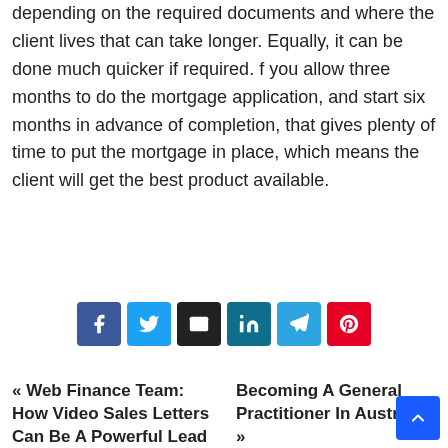depending on the required documents and where the client lives that can take longer. Equally, it can be done much quicker if required. f you allow three months to do the mortgage application, and start six months in advance of completion, that gives plenty of time to put the mortgage in place, which means the client will get the best product available.
[Figure (infographic): Social share buttons: Facebook (blue), Twitter (light blue), Email (dark/black), LinkedIn (teal/dark blue), Telegram (teal), Pinterest (red)]
« Web Finance Team: How Video Sales Letters Can Be A Powerful Lead Generator    Becoming A General Practitioner In Australia »